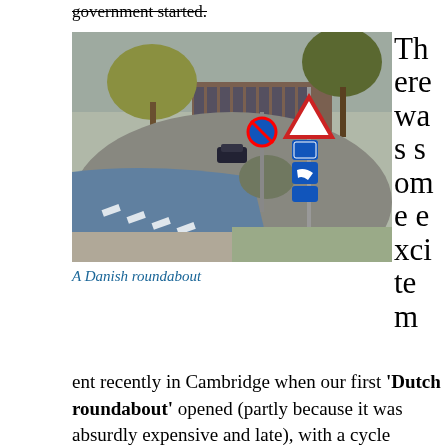government started.
[Figure (photo): A Danish roundabout with blue cycle lanes, pedestrian crossing markings, road signs including a yield triangle sign and blue directional signs, trees and a building visible in the background.]
A Danish roundabout
There was some excitement recently in Cambridge when our first 'Dutch roundabout' opened (partly because it was absurdly expensive and late), with a cycle